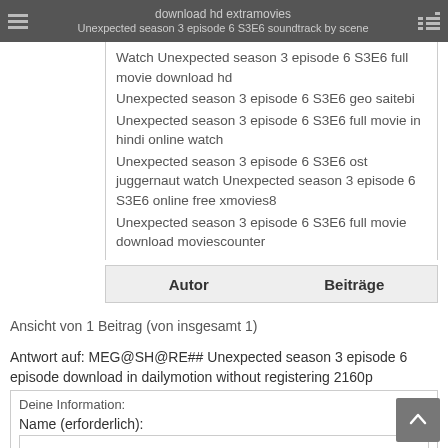download hd extramovies | Unexpected season 3 episode 6 S3E6 soundtrack by scene
Watch Unexpected season 3 episode 6 S3E6 full movie download hd
Unexpected season 3 episode 6 S3E6 geo saitebi
Unexpected season 3 episode 6 S3E6 full movie in hindi online watch
Unexpected season 3 episode 6 S3E6 ost juggernaut watch Unexpected season 3 episode 6 S3E6 online free xmovies8
Unexpected season 3 episode 6 S3E6 full movie download moviescounter
| Autor | Beiträge |
| --- | --- |
Ansicht von 1 Beitrag (von insgesamt 1)
Antwort auf: MEG@SH@RE## Unexpected season 3 episode 6 episode download in dailymotion without registering 2160p
Deine Information:
Name (erforderlich):